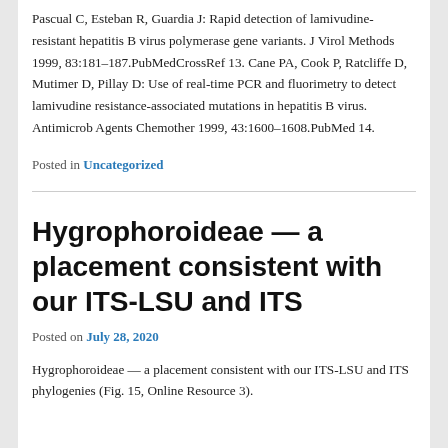Pascual C, Esteban R, Guardia J: Rapid detection of lamivudine-resistant hepatitis B virus polymerase gene variants. J Virol Methods 1999, 83:181–187.PubMedCrossRef 13. Cane PA, Cook P, Ratcliffe D, Mutimer D, Pillay D: Use of real-time PCR and fluorimetry to detect lamivudine resistance-associated mutations in hepatitis B virus. Antimicrob Agents Chemother 1999, 43:1600–1608.PubMed 14.
Posted in Uncategorized
Hygrophoroideae — a placement consistent with our ITS-LSU and ITS
Posted on July 28, 2020
Hygrophoroideae — a placement consistent with our ITS-LSU and ITS phylogenies (Fig. 15, Online Resource 3).